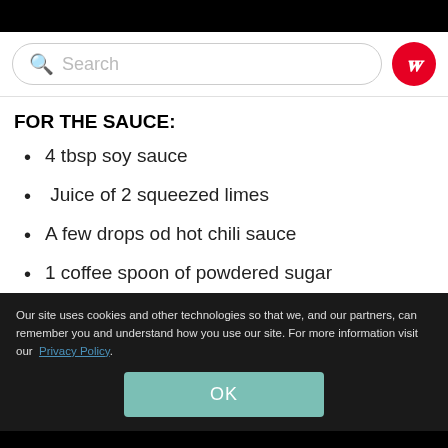Search
FOR THE SAUCE:
4 tbsp soy sauce
Juice of 2 squeezed limes
A few drops od hot chili sauce
1 coffee spoon of powdered sugar
Our site uses cookies and other technologies so that we, and our partners, can remember you and understand how you use our site. For more information visit our Privacy Policy.